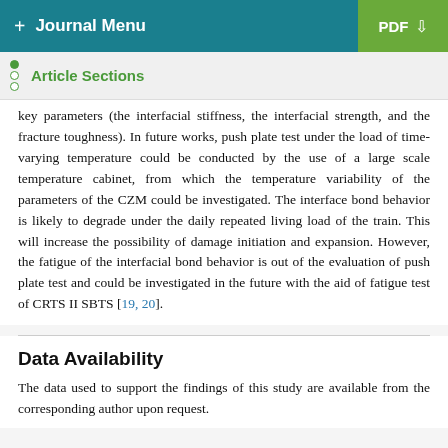+ Journal Menu | PDF ↓
Article Sections
key parameters (the interfacial stiffness, the interfacial strength, and the fracture toughness). In future works, push plate test under the load of time-varying temperature could be conducted by the use of a large scale temperature cabinet, from which the temperature variability of the parameters of the CZM could be investigated. The interface bond behavior is likely to degrade under the daily repeated living load of the train. This will increase the possibility of damage initiation and expansion. However, the fatigue of the interfacial bond behavior is out of the evaluation of push plate test and could be investigated in the future with the aid of fatigue test of CRTS II SBTS [19, 20].
Data Availability
The data used to support the findings of this study are available from the corresponding author upon request.